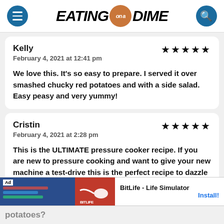[Figure (logo): Eating on a Dime website logo with hamburger menu icon on left, logo in center, search icon on right]
Kelly
February 4, 2021 at 12:41 pm
★★★★★
We love this. It's so easy to prepare. I served it over smashed chucky red potatoes and with a side salad. Easy peasy and very yummy!
Cristin
February 4, 2021 at 2:28 pm
★★★★★
This is the ULTIMATE pressure cooker recipe. If you are new to pressure cooking and want to give your new machine a test-drive this is the perfect recipe to dazzle a crowd...
[Figure (screenshot): Ad banner for BitLife - Life Simulator app with Install button]